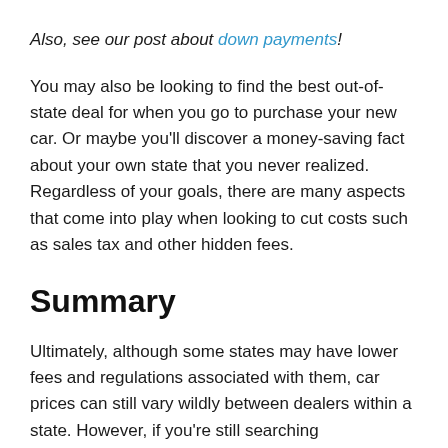Also, see our post about down payments!
You may also be looking to find the best out-of-state deal for when you go to purchase your new car. Or maybe you'll discover a money-saving fact about your own state that you never realized. Regardless of your goals, there are many aspects that come into play when looking to cut costs such as sales tax and other hidden fees.
Summary
Ultimately, although some states may have lower fees and regulations associated with them, car prices can still vary wildly between dealers within a state. However, if you're still searching